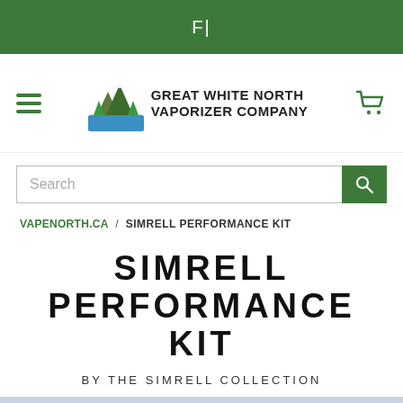F|
[Figure (logo): Great White North Vaporizer Company logo with mountain and trees illustration]
Search
VAPENORTH.CA / SIMRELL PERFORMANCE KIT
SIMRELL PERFORMANCE KIT
BY THE SIMRELL COLLECTION
[Figure (photo): Product photo showing Simrell Performance Kit components on a light blue background]